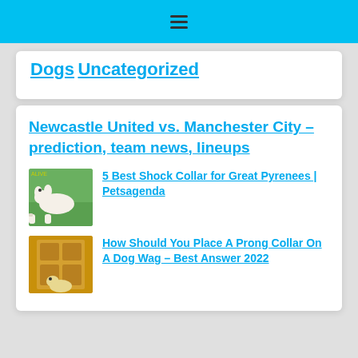≡
Dogs
Uncategorized
Newcastle United vs. Manchester City – prediction, team news, lineups
[Figure (photo): A white Great Pyrenees dog lying on grass outdoors]
5 Best Shock Collar for Great Pyrenees | Petsagenda
[Figure (photo): A yellow Labrador dog in front of a wooden door]
How Should You Place A Prong Collar On A Dog Wag – Best Answer 2022